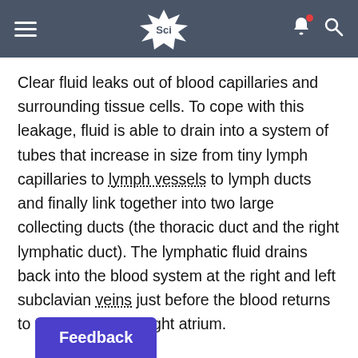Sci
Clear fluid leaks out of blood capillaries and surrounding tissue cells. To cope with this leakage, fluid is able to drain into a system of tubes that increase in size from tiny lymph capillaries to lymph vessels to lymph ducts and finally link together into two large collecting ducts (the thoracic duct and the right lymphatic duct). The lymphatic fluid drains back into the blood system at the right and left subclavian veins just before the blood returns to the heart at the right atrium.
Feedback